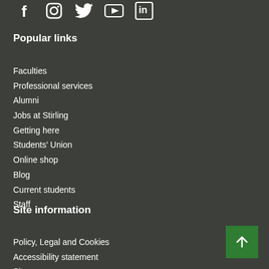[Figure (illustration): Row of social media icons: Facebook, Instagram, Twitter, YouTube, LinkedIn in white on dark background]
Popular links
Faculties
Professional services
Alumni
Jobs at Stirling
Getting here
Students' Union
Online shop
Blog
Current students
Staff
Site information
Policy, Legal and Cookies
Accessibility statement
Site...